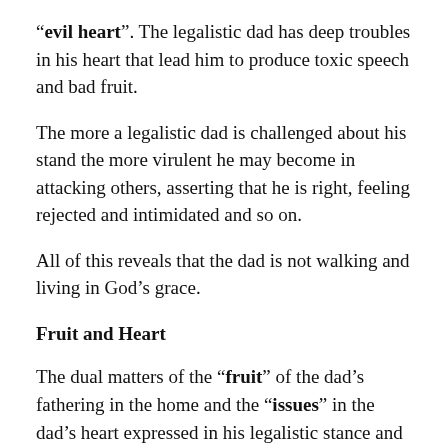“evil heart”. The legalistic dad has deep troubles in his heart that lead him to produce toxic speech and bad fruit.
The more a legalistic dad is challenged about his stand the more virulent he may become in attacking others, asserting that he is right, feeling rejected and intimidated and so on.
All of this reveals that the dad is not walking and living in God’s grace.
Fruit and Heart
The dual matters of the “fruit” of the dad’s fathering in the home and the “issues” in the dad’s heart expressed in his legalistic stance and speech, show that the dad needs help. The key issue is it...